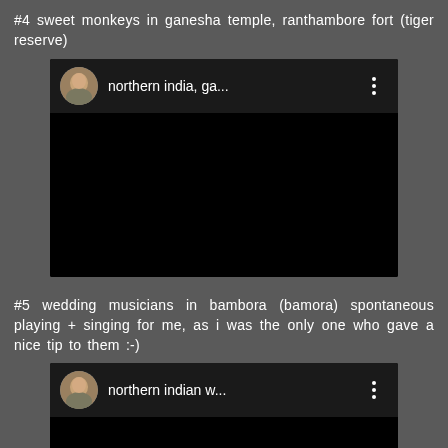#4 sweet monkeys in ganesha temple, ranthambore fort (tiger reserve)
[Figure (screenshot): Video thumbnail with black background, showing a circular avatar of a man's face and the title 'northern india, ga...' with a three-dot menu icon]
#5 wedding musicians in bambora (bamora) spontaneous playing + singing for me, as i was the only one who gave a nice tip to them :-)
[Figure (screenshot): Video thumbnail with black background, showing a circular avatar of a man's face and the title 'northern indian w...' with a three-dot menu icon]